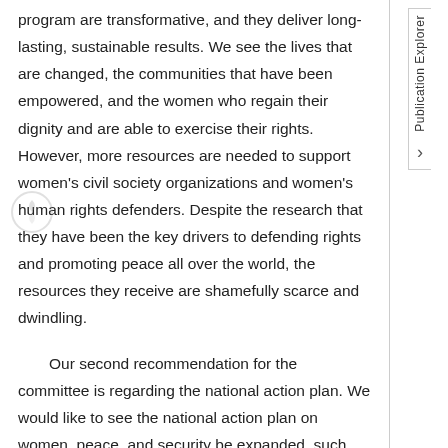program are transformative, and they deliver long-lasting, sustainable results. We see the lives that are changed, the communities that have been empowered, and the women who regain their dignity and are able to exercise their rights. However, more resources are needed to support women's civil society organizations and women's human rights defenders. Despite the research that they have been the key drivers to defending rights and promoting peace all over the world, the resources they receive are shamefully scarce and dwindling.
Our second recommendation for the committee is regarding the national action plan. We would like to see the national action plan on women, peace, and security be expanded, such that it can serve both as a strategic vision for how Canada will implement and strengthen its